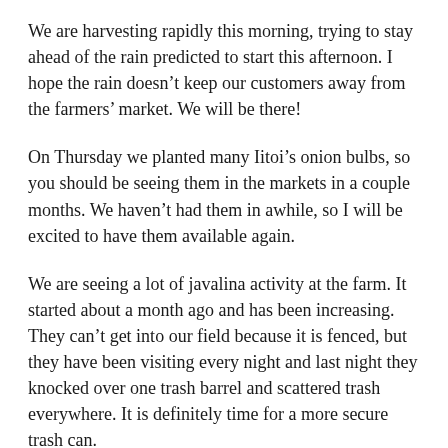We are harvesting rapidly this morning, trying to stay ahead of the rain predicted to start this afternoon. I hope the rain doesn’t keep our customers away from the farmers’ market. We will be there!
On Thursday we planted many Iitoi’s onion bulbs, so you should be seeing them in the markets in a couple months. We haven’t had them in awhile, so I will be excited to have them available again.
We are seeing a lot of javalina activity at the farm. It started about a month ago and has been increasing. They can’t get into our field because it is fenced, but they have been visiting every night and last night they knocked over one trash barrel and scattered trash everywhere. It is definitely time for a more secure trash can.